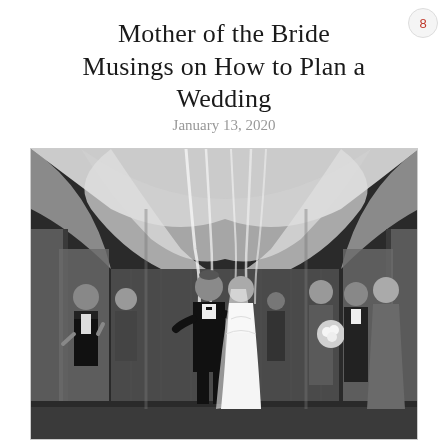Mother of the Bride Musings on How to Plan a Wedding
January 13, 2020
[Figure (photo): Black and white wedding ceremony photo showing a couple kissing under a draped chuppah/canopy made of flowing white fabric. The groom is in a black tuxedo and the bride is in a white wedding dress with a long veil. Wedding party members and guests stand on either side applauding. The venue features ornate curtains and elegant drapery in the background.]